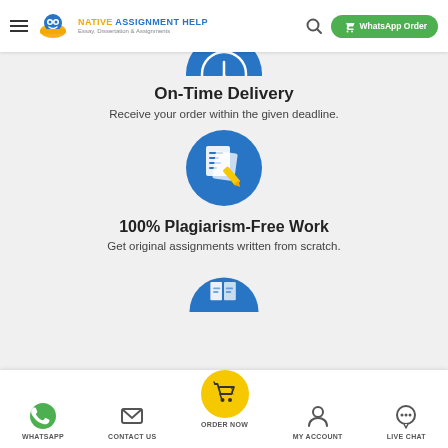Native Assignment Help — Essay, Dissertation & Assignments | WhatsApp Order
[Figure (illustration): Blue circle icon (partially visible at top) for On-Time Delivery feature]
On-Time Delivery
Receive your order within the given deadline.
[Figure (illustration): Blue circle icon with document and pencil illustration for 100% Plagiarism-Free Work feature]
100% Plagiarism-Free Work
Get original assignments written from scratch.
[Figure (illustration): Blue circle icon (partially visible at bottom) for next feature section]
WHATSAPP | CONTACT US | ORDER NOW | MY ACCOUNT | LIVE CHAT